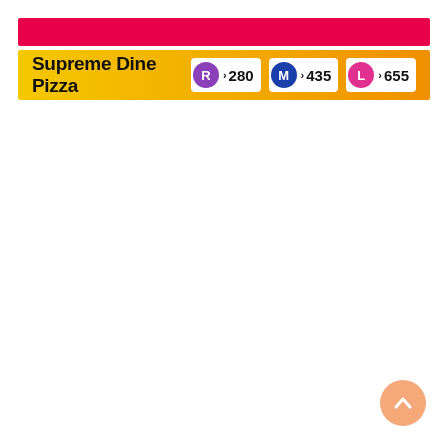Supreme Dine Pizza  R 280  M 435  L 655
[Figure (other): Scroll-to-top button, orange circle with upward chevron arrow]